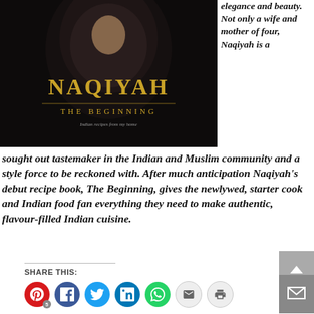[Figure (illustration): Book cover for 'NAQIYAH THE BEGINNING - Indian recipes from my home', dark background with gold title text and a person wearing a hijab]
elegance and beauty. Not only a wife and mother of four, Naqiyah is a sought out tastemaker in the Indian and Muslim community and a style force to be reckoned with. After much anticipation Naqiyah's debut recipe book, The Beginning, gives the newlywed, starter cook and Indian food fan everything they need to make authentic, flavour-filled Indian cuisine.
SHARE THIS: